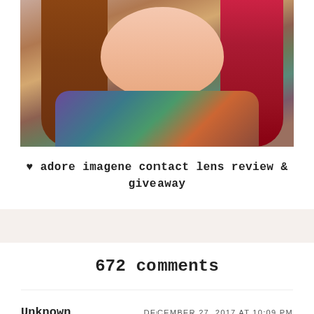[Figure (photo): A young woman with long brown and red dip-dyed hair, wearing a colorful floral strapless top and a necklace, photographed in a car.]
♥ adore imagene contact lens review & giveaway
672 comments
Unknown — DECEMBER 27, 2017 AT 10:09 PM
I like set 16! 💙 hope you can do more make up And travel